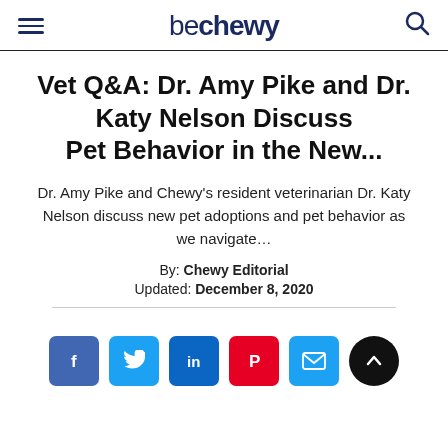be chewy
Vet Q&A: Dr. Amy Pike and Dr. Katy Nelson Discuss Pet Behavior in the New...
Dr. Amy Pike and Chewy's resident veterinarian Dr. Katy Nelson discuss new pet adoptions and pet behavior as we navigate...
By: Chewy Editorial
Updated: December 8, 2020
[Figure (infographic): Social share buttons: Facebook, Twitter, LinkedIn, Pinterest, Email, and scroll-up button]